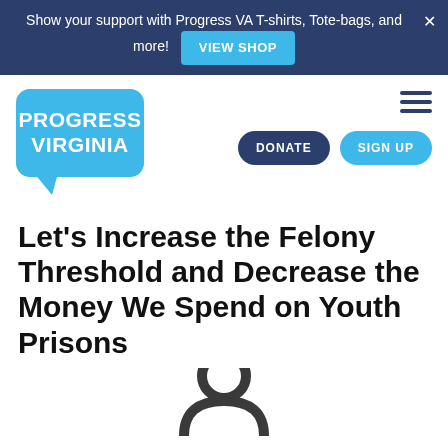Show your support with Progress VA T-shirts, Tote-bags, and more! VIEW SHOP
[Figure (logo): Progress Virginia logo — blue speech bubble with white bold text reading PROGRESS VIRGINIA]
Let's Increase the Felony Threshold and Decrease the Money We Spend on Youth Prisons
[Figure (illustration): Partial view of a person silhouette icon in dark gray at the bottom of the page]